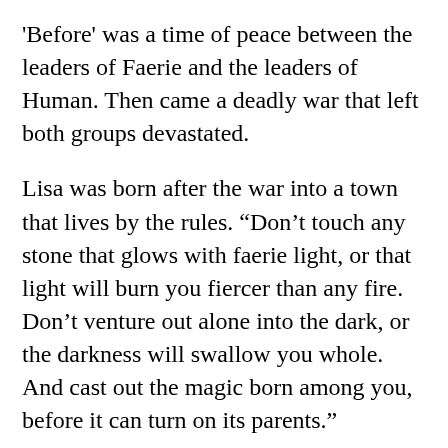'Before' was a time of peace between the leaders of Faerie and the leaders of Human. Then came a deadly war that left both groups devastated.
Lisa was born after the war into a town that lives by the rules. “Don’t touch any stone that glows with faerie light, or that light will burn you fiercer than any fire. Don’t venture out alone into the dark, or the darkness will swallow you whole. And cast out the magic born among you, before it can turn on its parents.”
When her baby sister was born with “faerie-